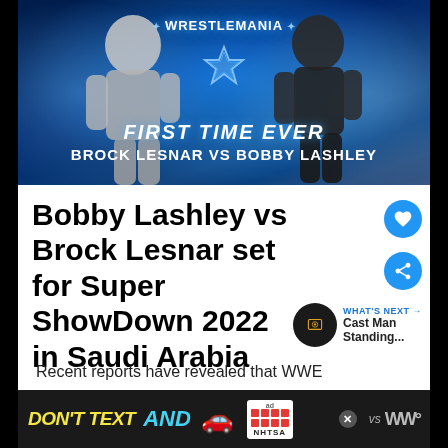[Figure (photo): WrestleMania promotional image showing Brock Lesnar vs Bobby Lashley face-off with blue lighting and text 'FIRST TIME EVER BROCK LESNAR VS BOBBY LASHLEY']
Bobby Lashley vs Brock Lesnar set for Super ShowDown 2022 in Saudi Arabia
Recent reports have revealed that WWE
[Figure (infographic): Advertisement banner: DON'T TEXT AND [car emoji] with ad badge and NHTSA logo]